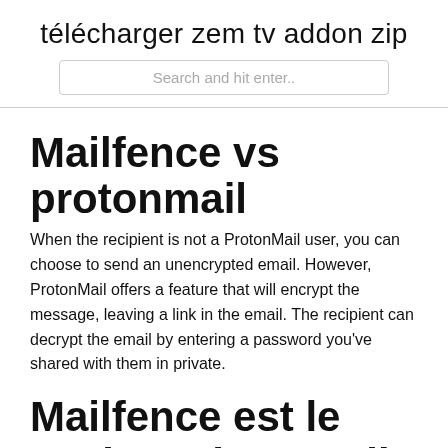télécharger zem tv addon zip
Search and hit enter..
Mailfence vs protonmail
When the recipient is not a ProtonMail user, you can choose to send an unencrypted email. However, ProtonMail offers a feature that will encrypt the message, leaving a link in the email. The recipient can decrypt the email by entering a password you've shared with them in private.
Mailfence est le seul service email sécurisé avec respect de vie privée qui vous donne le contrôle. Un service...